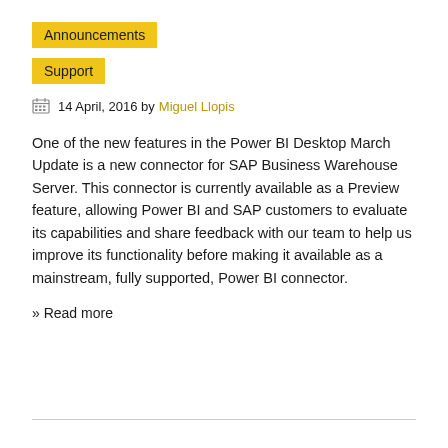Announcements
Support
14 April, 2016 by Miguel Llopis
One of the new features in the Power BI Desktop March Update is a new connector for SAP Business Warehouse Server. This connector is currently available as a Preview feature, allowing Power BI and SAP customers to evaluate its capabilities and share feedback with our team to help us improve its functionality before making it available as a mainstream, fully supported, Power BI connector.
» Read more